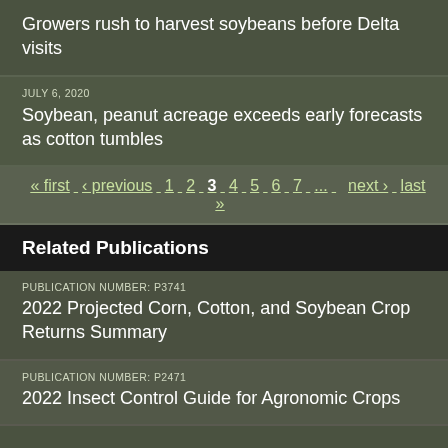Growers rush to harvest soybeans before Delta visits
JULY 6, 2020
Soybean, peanut acreage exceeds early forecasts as cotton tumbles
« first  ‹ previous  1  2  3  4  5  6  7  ...  next ›  last »
Related Publications
PUBLICATION NUMBER: P3741
2022 Projected Corn, Cotton, and Soybean Crop Returns Summary
PUBLICATION NUMBER: P2471
2022 Insect Control Guide for Agronomic Crops